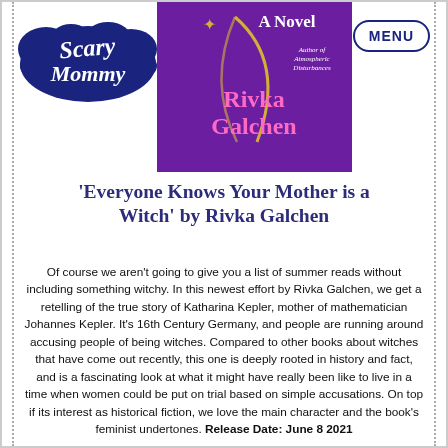[Figure (logo): Scary Mommy logo - white cursive text on dark navy cloud/bubble shapes]
[Figure (illustration): Book cover for 'Everyone Knows Your Mother is a Witch' by Rivka Galchen. Purple background with golden star and crescent decoration, white 'A Novel' text, pink author name 'Rivka Galchen', small italic text 'Author of Atmospheric Disturbances']
[Figure (other): MENU button - dark navy oval/pill shaped button with MENU text]
'Everyone Knows Your Mother is a Witch' by Rivka Galchen
Of course we aren't going to give you a list of summer reads without including something witchy. In this newest effort by Rivka Galchen, we get a retelling of the true story of Katharina Kepler, mother of mathematician Johannes Kepler. It's 16th Century Germany, and people are running around accusing people of being witches. Compared to other books about witches that have come out recently, this one is deeply rooted in history and fact, and is a fascinating look at what it might have really been like to live in a time when women could be put on trial based on simple accusations. On top if its interest as historical fiction, we love the main character and the book's feminist undertones. Release Date: June 8 2021